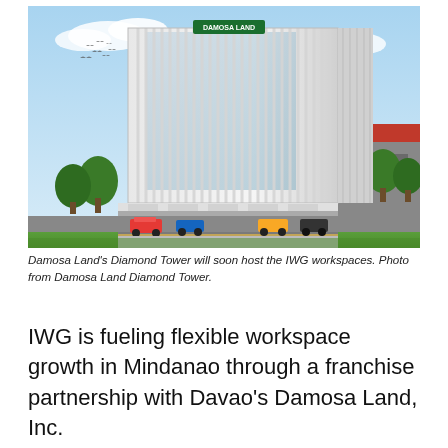[Figure (photo): Architectural rendering of Damosa Land's Diamond Tower — a tall modern white office building with vertical fins facade and glass curtain wall, surrounded by trees, parked cars, and a red-roofed building to the right, under a blue sky.]
Damosa Land's Diamond Tower will soon host the IWG workspaces. Photo from Damosa Land Diamond Tower.
IWG is fueling flexible workspace growth in Mindanao through a franchise partnership with Davao's Damosa Land, Inc.